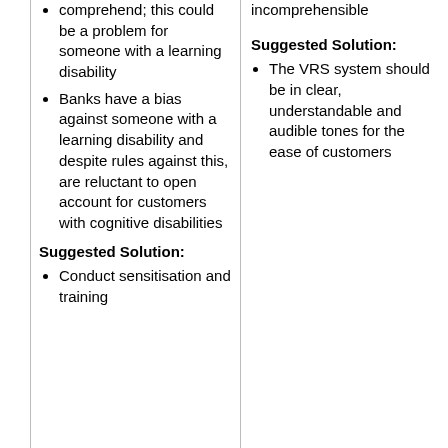comprehend; this could be a problem for someone with a learning disability
Banks have a bias against someone with a learning disability and despite rules against this, are reluctant to open account for customers with cognitive disabilities
Suggested Solution:
Conduct sensitisation and training
incomprehensible
Suggested Solution:
The VRS system should be in clear, understandable and audible tones for the ease of customers